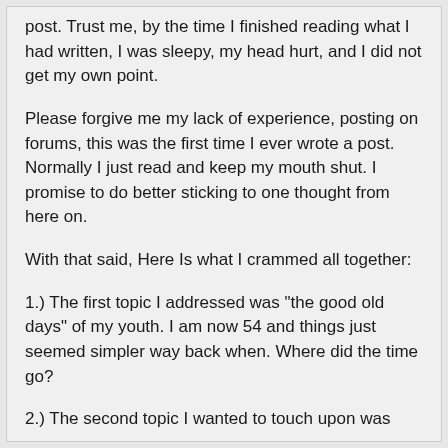post. Trust me, by the time I finished reading what I had written, I was sleepy, my head hurt, and I did not get my own point.
Please forgive me my lack of experience, posting on forums, this was the first time I ever wrote a post. Normally I just read and keep my mouth shut. I promise to do better sticking to one thought from here on.
With that said, Here Is what I crammed all together:
1.) The first topic I addressed was "the good old days" of my youth. I am now 54 and things just seemed simpler way back when. Where did the time go?
2.) The second topic I wanted to touch upon was